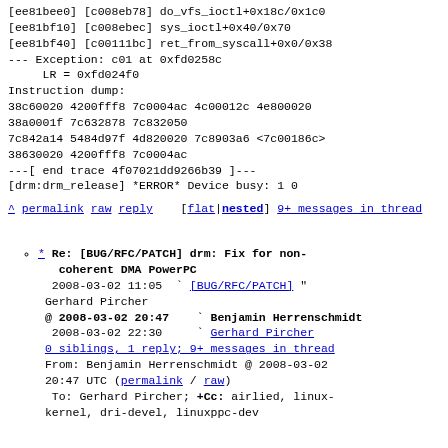[ee81bee0] [c008eb78] do_vfs_ioctl+0x18c/0x1c0
[ee81bf10] [c008ebec] sys_ioctl+0x40/0x70
[ee81bf40] [c00111bc] ret_from_syscall+0x0/0x38
--- Exception: c01 at 0xfd0258c
     LR = 0xfd024f0
Instruction dump:
38c60020 4200fff8 7c0004ac 4c00012c 4e800020
38a0001f 7c632878 7c832050
7c842a14 5484d97f 4d820020 7c8903a6 <7c00186c>
38630020 4200fff8 7c0004ac
---[ end trace 4f07021dd9266b39 ]---
[drm:drm_release] *ERROR* Device busy: 1 0
^ permalink raw reply [flat|nested] 9+ messages in thread
* Re: [BUG/RFC/PATCH] drm: Fix for non-coherent DMA PowerPC
2008-03-02 11:05  ` [BUG/RFC/PATCH]  " Gerhard Pircher
@ 2008-03-02 20:47    ` Benjamin Herrenschmidt
  2008-03-02 22:30      ` Gerhard Pircher
  0 siblings, 1 reply; 9+ messages in thread
From: Benjamin Herrenschmidt @ 2008-03-02 20:47 UTC (permalink / raw)
To: Gerhard Pircher; +Cc: airlied, linux-kernel, dri-devel, linuxppc-dev